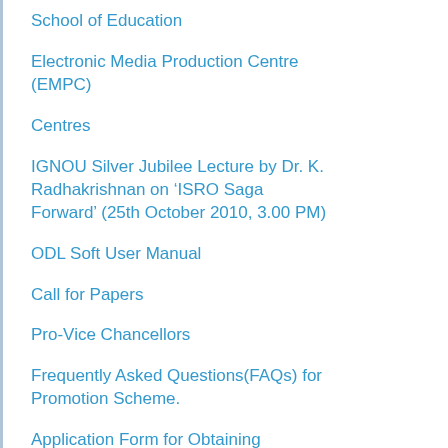School of Education
Electronic Media Production Centre (EMPC)
Centres
IGNOU Silver Jubilee Lecture by Dr. K. Radhakrishnan on ‘ISRO Saga Forward’ (25th October 2010, 3.00 PM)
ODL Soft User Manual
Call for Papers
Pro-Vice Chancellors
Frequently Asked Questions(FAQs) for Promotion Scheme.
Application Form for Obtaining Duplicate Copy of